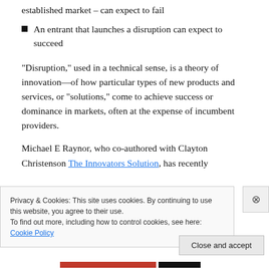established market – can expect to fail
An entrant that launches a disruption can expect to succeed
“Disruption,” used in a technical sense, is a theory of innovation—of how particular types of new products and services, or “solutions,” come to achieve success or dominance in markets, often at the expense of incumbent providers.
Michael E Raynor, who co-authored with Clayton Christenson The Innovators Solution, has recently
Privacy & Cookies: This site uses cookies. By continuing to use this website, you agree to their use.
To find out more, including how to control cookies, see here: Cookie Policy
Close and accept